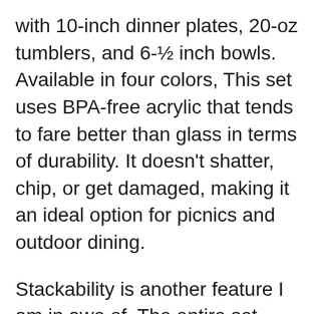with 10-inch dinner plates, 20-oz tumblers, and 6-½ inch bowls. Available in four colors, This set uses BPA-free acrylic that tends to fare better than glass in terms of durability. It doesn’t shatter, chip, or get damaged, making it an ideal option for picnics and outdoor dining.
Stackability is another feature I am in awe of. The entire set piles up on top of each other neatly, leaving you plenty of space in kitchen cabinets or countertops for other items. For kids,